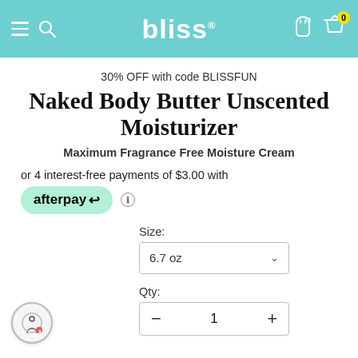bliss
30% OFF with code BLISSFUN
Naked Body Butter Unscented Moisturizer
Maximum Fragrance Free Moisture Cream
or 4 interest-free payments of $3.00 with
[Figure (logo): Afterpay logo button in mint green rounded rectangle]
Size:
6.7 oz
Qty:
1